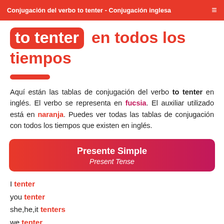Conjugación del verbo to tenter - Conjugación inglesa
to tenter en todos los tiempos
Aquí están las tablas de conjugación del verbo to tenter en inglés. El verbo se representa en fucsia. El auxiliar utilizado está en naranja. Puedes ver todas las tablas de conjugación con todos los tiempos que existen en inglés.
Presente Simple / Present Tense
I tenter
you tenter
she,he,it tenters
we tenter